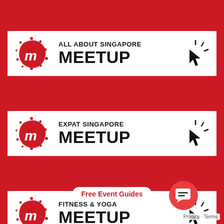[Figure (logo): All About Singapore Meetup banner with Meetup logo, text 'ALL ABOUT SINGAPORE MEETUP' and a click cursor icon]
[Figure (logo): Expat Singapore Meetup banner with Meetup logo, text 'EXPAT SINGAPORE MEETUP' and a click cursor icon]
[Figure (logo): Fitness & Yoga Meetup banner with Meetup logo, text 'FITNESS & YOGA MEETUP' and a click cursor icon (partially obscured by overlay)]
Free Event Guides